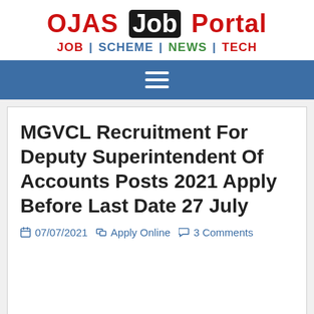OJAS Job Portal — JOB | SCHEME | NEWS | TECH
MGVCL Recruitment For Deputy Superintendent Of Accounts Posts 2021 Apply Before Last Date 27 July
07/07/2021  Apply Online  3 Comments